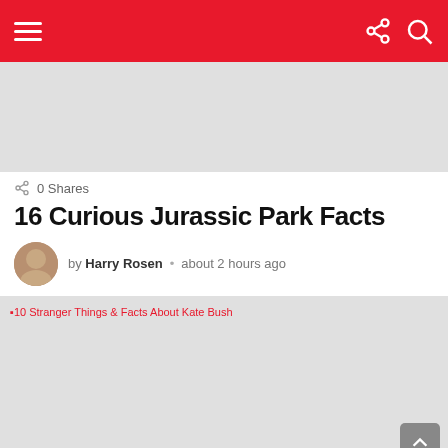Navigation bar with hamburger menu, share icon, and search icon
[Figure (other): Gray advertisement placeholder banner]
0 Shares
16 Curious Jurassic Park Facts
by Harry Rosen • about 2 hours ago
[Figure (photo): Featured image placeholder with broken image alt text: 10 Stranger Things & Facts About Kate Bush]